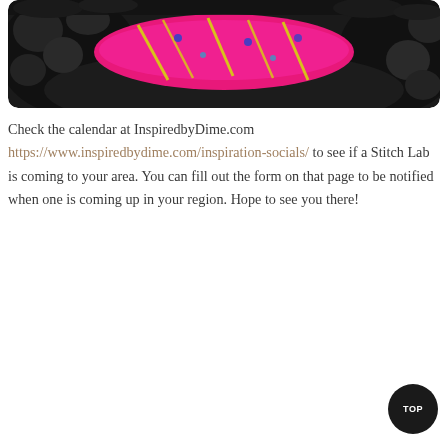[Figure (photo): A black curly-haired dog wearing a bright pink bandana with yellow and colorful prints, photographed close-up against a dark background.]
Check the calendar at InspiredbyDime.com https://www.inspiredbydime.com/inspiration-socials/ to see if a Stitch Lab is coming to your area. You can fill out the form on that page to be notified when one is coming up in your region. Hope to see you there!